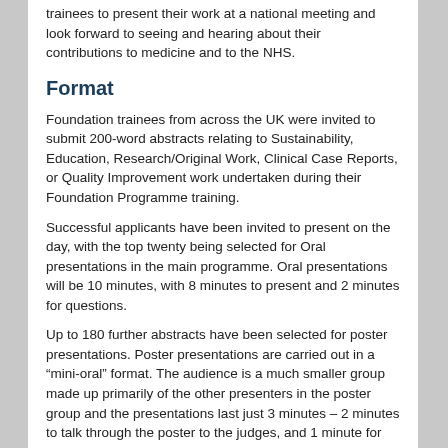trainees to present their work at a national meeting and look forward to seeing and hearing about their contributions to medicine and to the NHS.
Format
Foundation trainees from across the UK were invited to submit 200-word abstracts relating to Sustainability, Education, Research/Original Work, Clinical Case Reports, or Quality Improvement work undertaken during their Foundation Programme training.
Successful applicants have been invited to present on the day, with the top twenty being selected for Oral presentations in the main programme. Oral presentations will be 10 minutes, with 8 minutes to present and 2 minutes for questions.
Up to 180 further abstracts have been selected for poster presentations. Poster presentations are carried out in a “mini-oral” format. The audience is a much smaller group made up primarily of the other presenters in the poster group and the presentations last just 3 minutes – 2 minutes to talk through the poster to the judges, and 1 minute for questions.
Poster presentation groups will run concurrently with the